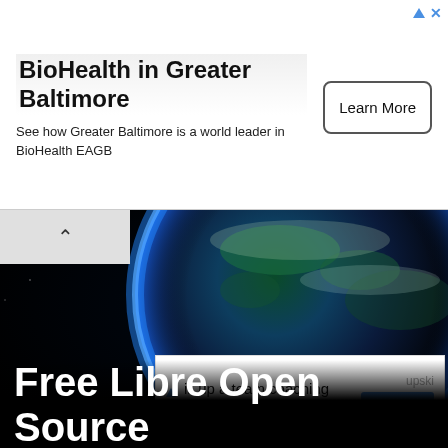[Figure (infographic): Ad banner: BioHealth in Greater Baltimore with Learn More button and ad corner icons]
BioHealth in Greater Baltimore
See how Greater Baltimore is a world leader in BioHealth EAGB
[Figure (photo): Earth from space background image, dark space with glowing blue rim of the planet]
[Figure (infographic): Second partial ad banner: 'ill up a team coaching ght now?' with UpS branding and OPEN button]
Free Libre Open Source Lebanese Movement
Free software is simply software that respects our freedom — our freedom to learn and understand the software we are using. Free software is designed to free the user from restrictions put in place by proprietary software, and so using free software lets you join a global community of people who are making the political and ethical assertion of our rights to